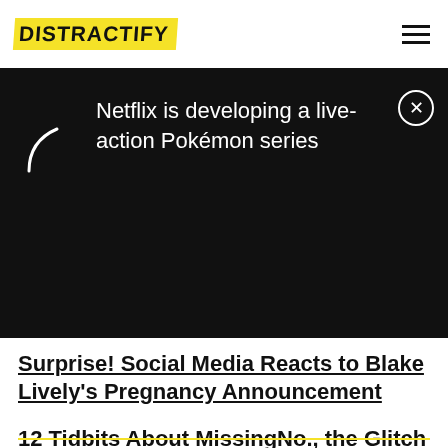DISTRACTIFY
[Figure (screenshot): Black ad banner with loading spinner arc on left, text 'Netflix is developing a live-action Pokémon series' on right, and close (X) button in top-right corner]
Surprise! Social Media Reacts to Blake Lively's Pregnancy Announcement
12 Tidbits About MissingNo., the Glitch Pokémon of Our Nightmares
Pikachu Has Bangs Now — So Pokémon Is Basically Cancelled